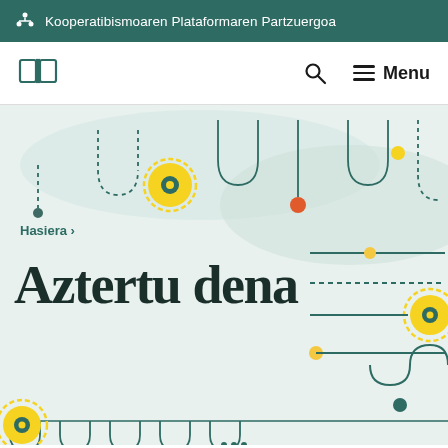Kooperatibismoaren Plataformaren Partzuergoa
[Figure (screenshot): Navigation bar with book icon on left, search icon and Menu button on right]
[Figure (illustration): Decorative abstract illustration with winding dashed and solid lines, circular gear-like yellow elements, colored dots (dark teal, orange, yellow), on a light mint/teal background]
Hasiera >
Aztertu dena